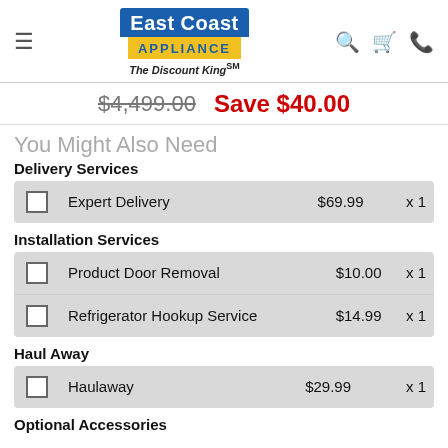East Coast Appliance — The Discount King
$4,499.00  Save $40.00
You Might Also Need
Delivery Services
|  | Service | Price | Qty |
| --- | --- | --- | --- |
| ☐ | Expert Delivery | $69.99 | x 1 |
Installation Services
|  | Service | Price | Qty |
| --- | --- | --- | --- |
| ☐ | Product Door Removal | $10.00 | x 1 |
| ☐ | Refrigerator Hookup Service | $14.99 | x 1 |
Haul Away
|  | Service | Price | Qty |
| --- | --- | --- | --- |
| ☐ | Haulaway | $29.99 | x 1 |
Optional Accessories